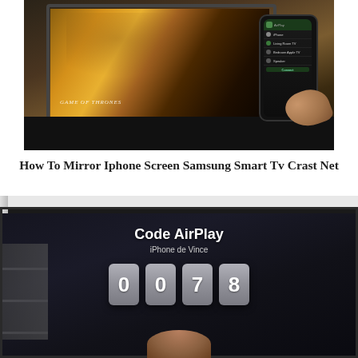[Figure (photo): Photo of a smartphone being held in front of a Samsung smart TV playing Game of Thrones, with AirPlay menu visible on the phone screen]
How To Mirror Iphone Screen Samsung Smart Tv Crast Net
[Figure (photo): Photo of a TV screen displaying AirPlay code entry screen with 'Code AirPlay', 'iPhone de Vince', and the digits 0 0 7 8]